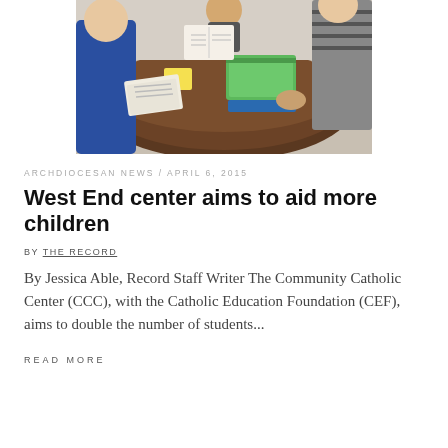[Figure (photo): Students and an adult sitting around a round brown table with books, papers, and notebooks including green and blue binders; educational setting.]
ARCHDIOCESAN NEWS / APRIL 6, 2015
West End center aims to aid more children
BY THE RECORD
By Jessica Able, Record Staff Writer The Community Catholic Center (CCC), with the Catholic Education Foundation (CEF), aims to double the number of students...
READ MORE